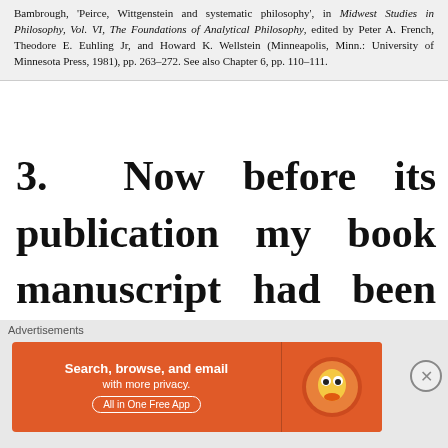Bambrough, 'Peirce, Wittgenstein and systematic philosophy', in Midwest Studies in Philosophy, Vol. VI, The Foundations of Analytical Philosophy, edited by Peter A. French, Theodore E. Euhling Jr, and Howard K. Wellstein (Minneapolis, Minn.: University of Minnesota Press, 1981), pp. 263–272. See also Chapter 6, pp. 110–111.
3.  Now before its publication my book manuscript had been mostly under contract with University of Chicago Press, not Routledge.  About 1984 one
[Figure (other): Advertisement banner for DuckDuckGo app: 'Search, browse, and email with more privacy. All in One Free App' with DuckDuckGo logo on orange background.]